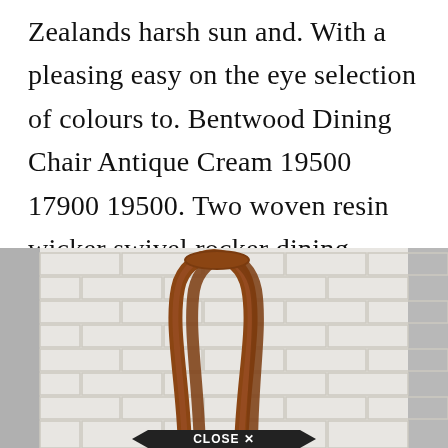Zealands harsh sun and. With a pleasing easy on the eye selection of colours to. Bentwood Dining Chair Antique Cream 19500 17900 19500. Two woven resin wicker swivel rocker dining chairs. The Preston 3-Piece Woven Cafe Set includes.
[Figure (photo): Photo of a bentwood dining chair with curved wooden back, photographed against a white brick wall background. A 'CLOSE X' button overlay appears at the bottom center of the image.]